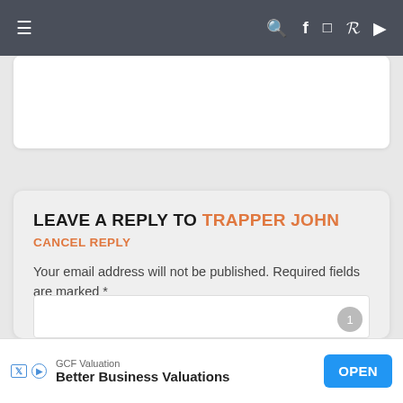Navigation bar with menu icon and social icons (search, Facebook, Instagram, Pinterest, YouTube)
LEAVE A REPLY TO TRAPPER JOHN
CANCEL REPLY
Your email address will not be published. Required fields are marked *
Recipe Rating ☆☆☆☆☆
Comment *
[Figure (screenshot): Comment text input box with page indicator number 1]
GCF Valuation — Better Business Valuations — OPEN